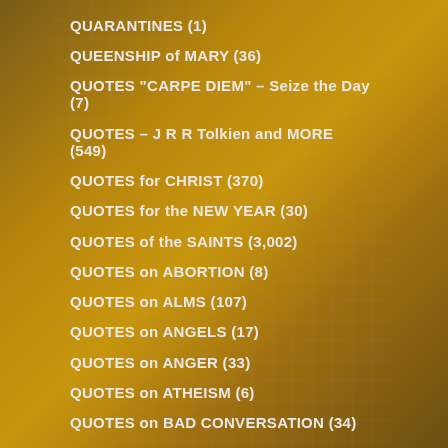QUARANTINES (1)
QUEENSHIP of MARY (36)
QUOTES "CARPE DIEM" – Seize the Day (7)
QUOTES – J R R Tolkien and MORE (549)
QUOTES for CHRIST (370)
QUOTES for the NEW YEAR (30)
QUOTES of the SAINTS (3,002)
QUOTES on ABORTION (8)
QUOTES on ALMS (107)
QUOTES on ANGELS (17)
QUOTES on ANGER (33)
QUOTES on ATHEISM (6)
QUOTES on BAD CONVERSATION (34)